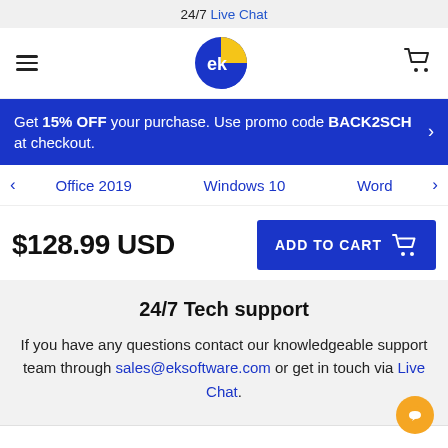24/7 Live Chat
[Figure (logo): EK Software logo — blue and yellow circular icon with 'ek' letters]
Get 15% OFF your purchase. Use promo code BACK2SCH at checkout.
Office 2019   Windows 10   Word
$128.99 USD
ADD TO CART
24/7 Tech support
If you have any questions contact our knowledgeable support team through sales@eksoftware.com or get in touch via Live Chat.